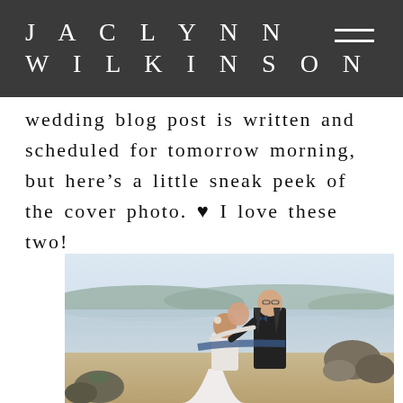JACLYNN WILKINSON
wedding blog post is written and scheduled for tomorrow morning, but here’s a little sneak peek of the cover photo. ♥ I love these two!
[Figure (photo): Wedding couple kissing on a rocky beach waterfront. The bride wears a white dress with a blue sash, and the groom wears a dark suit. Background shows calm water and distant hills under an overcast sky.]